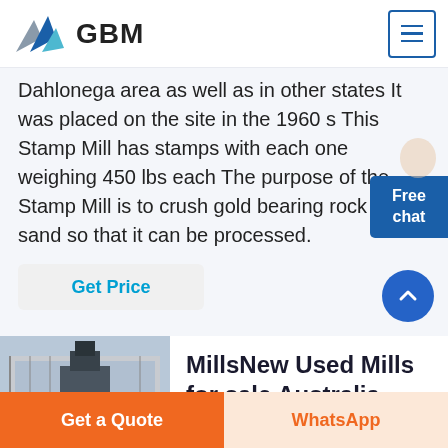GBM
Dahlonega area as well as in other states It was placed on the site in the 1960 s This Stamp Mill has stamps with each one weighing 450 lbs each The purpose of the Stamp Mill is to crush gold bearing rock into sand so that it can be processed.
Get Price
[Figure (photo): Industrial mill machinery inside a large building with scaffolding]
MillsNew Used Mills for sale Australia